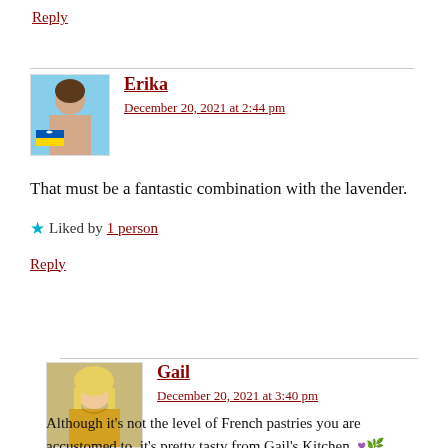Reply
Erika
December 20, 2021 at 2:44 pm
That must be a fantastic combination with the lavender.
★ Liked by 1 person
Reply
Gail
December 20, 2021 at 3:40 pm
Although it's not the level of French pastries you are accustomed to, it's pretty tasty from Gail's Kitchen. 💜🌿